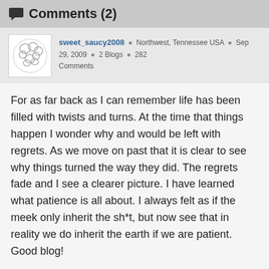Comments (2)
sweet_saucy2008 • Northwest, Tennessee USA • Sep 29, 2009 • 2 Blogs • 282 Comments
For as far back as I can remember life has been filled with twists and turns. At the time that things happen I wonder why and would be left with regrets. As we move on past that it is clear to see why things turned the way they did. The regrets fade and I see a clearer picture. I have learned what patience is all about. I always felt as if the meek only inherit the sh*t, but now see that in reality we do inherit the earth if we are patient. Good blog!
Reply   Like   Report
tattoedtrev • Crowley, Texas USA • Sep 30, 2009 • 3 Blogs • 35 Comments